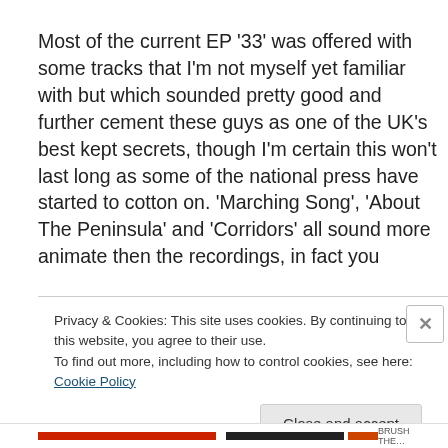Most of the current EP '33' was offered with some tracks that I'm not myself yet familiar with but which sounded pretty good and further cement these guys as one of the UK's best kept secrets, though I'm certain this won't last long as some of the national press have started to cotton on. 'Marching Song', 'About The Peninsula' and 'Corridors' all sound more animate then the recordings, in fact you
Privacy & Cookies: This site uses cookies. By continuing to use this website, you agree to their use.
To find out more, including how to control cookies, see here: Cookie Policy
Close and accept